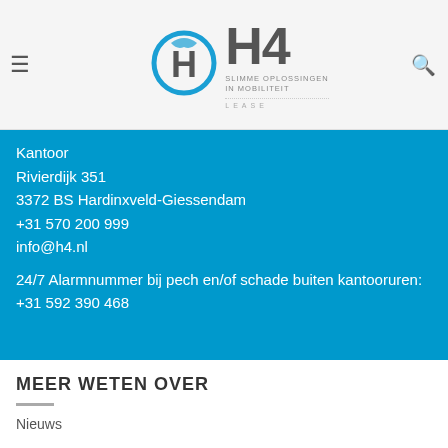H4 Lease — SLIMME OPLOSSINGEN IN MOBILITEIT
Kantoor
Rivierdijk 351
3372 BS Hardinxveld-Giessendam
+31 570 200 999
info@h4.nl
24/7 Alarmnummer bij pech en/of schade buiten kantooruren:
+31 592 390 468
MEER WETEN OVER
Nieuws